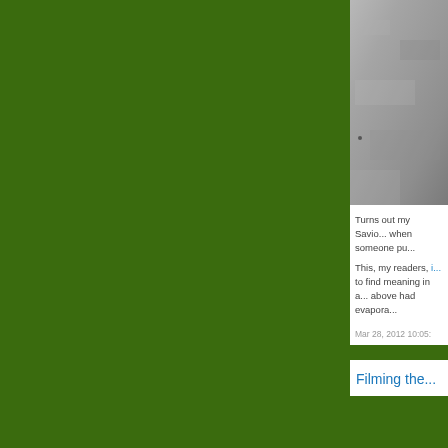[Figure (photo): Grayscale photo, partially visible on right side of page, showing a textured gray surface]
Turns out my Savio... when someone pu...
This, my readers, i... to find meaning in a... above had evapora...
Mar 28, 2012 10:05:
Com...
Filming the...